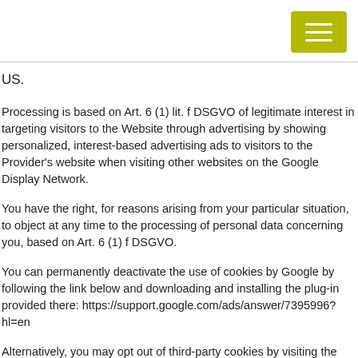US.
Processing is based on Art. 6 (1) lit. f DSGVO of legitimate interest in targeting visitors to the Website through advertising by showing personalized, interest-based advertising ads to visitors to the Provider's website when visiting other websites on the Google Display Network.
You have the right, for reasons arising from your particular situation, to object at any time to the processing of personal data concerning you, based on Art. 6 (1) f DSGVO.
You can permanently deactivate the use of cookies by Google by following the link below and downloading and installing the plug-in provided there: https://support.google.com/ads/answer/7395996?hl=en
Alternatively, you may opt out of third-party cookies by visiting the Network Advertising Initiative deactivation page at